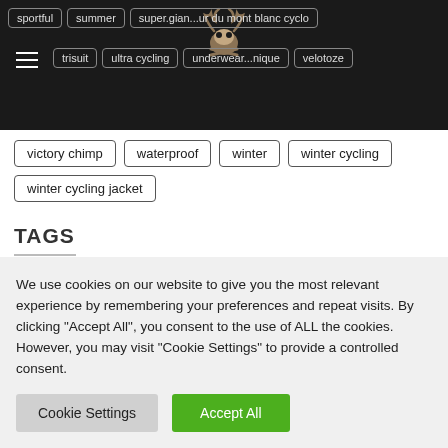sportful | summer | super.gian...ur du mont blanc cyclo | trisuit | ultra cycling | underwear...nique | velotoze
victory chimp
waterproof
winter
winter cycling
winter cycling jacket
TAGS
arenberg
bianchi
bib shorts
bib tights
bike wear
We use cookies on our website to give you the most relevant experience by remembering your preferences and repeat visits. By clicking "Accept All", you consent to the use of ALL the cookies. However, you may visit "Cookie Settings" to provide a controlled consent.